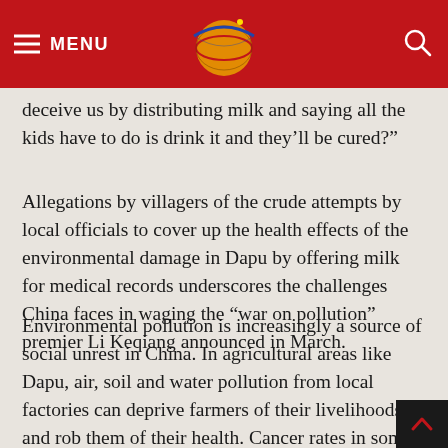MENU
deceive us by distributing milk and saying all the kids have to do is drink it and they’ll be cured?”
Allegations by villagers of the crude attempts by local officials to cover up the health effects of the environmental damage in Dapu by offering milk for medical records underscores the challenges China faces in waging the “war on pollution” premier Li Keqiang announced in March.
Environmental pollution is increasingly a source of social unrest in China. In agricultural areas like Dapu, air, soil and water pollution from local factories can deprive farmers of their livelihoods and rob them of their health. Cancer rates in some polluted villages are so high that they are known as “cancer villages.”